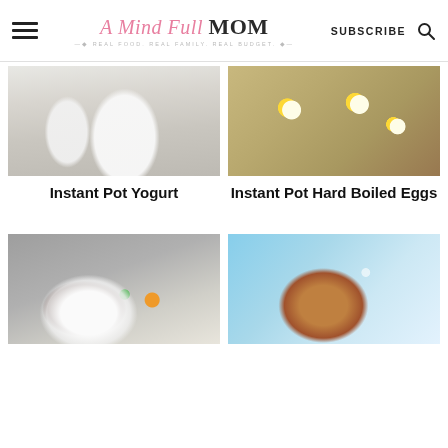A Mind Full Mom — REAL FOOD. REAL FAMILY. REAL BUDGET. | SUBSCRIBE
[Figure (photo): Photo of yogurt in a glass jar with a striped towel]
[Figure (photo): Photo of hard boiled eggs cut in half on a wooden cutting board with a green knife]
Instant Pot Yogurt
Instant Pot Hard Boiled Eggs
[Figure (photo): Photo of shredded pot roast with potatoes and carrots in a white bowl]
[Figure (photo): Photo of a whole roasted chicken with spices on a blue background]